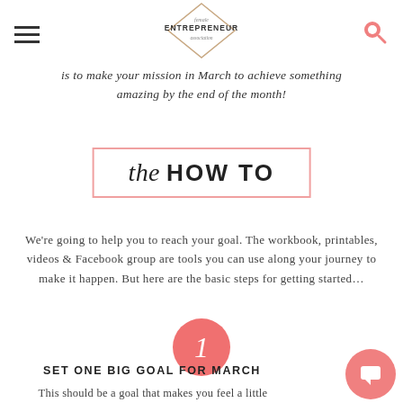female ENTREPRENEUR association
is to make your mission in March to achieve something amazing by the end of the month!
the HOW TO
We're going to help you to reach your goal. The workbook, printables, videos & Facebook group are tools you can use along your journey to make it happen. But here are the basic steps for getting started…
[Figure (infographic): Pink circle with number 1 inside, indicating step 1]
SET ONE BIG GOAL FOR MARCH
This should be a goal that makes you feel a little uncomfortable, or dream big!